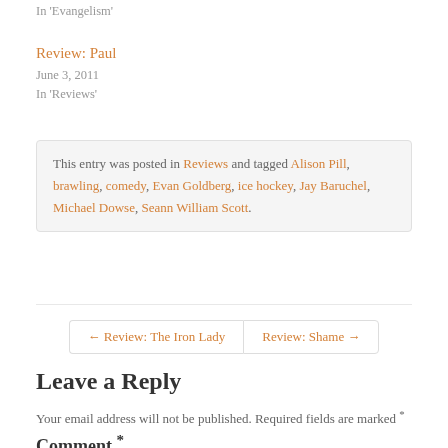In 'Evangelism'
Review: Paul
June 3, 2011
In 'Reviews'
This entry was posted in Reviews and tagged Alison Pill, brawling, comedy, Evan Goldberg, ice hockey, Jay Baruchel, Michael Dowse, Seann William Scott.
← Review: The Iron Lady
Review: Shame →
Leave a Reply
Your email address will not be published. Required fields are marked *
Comment *